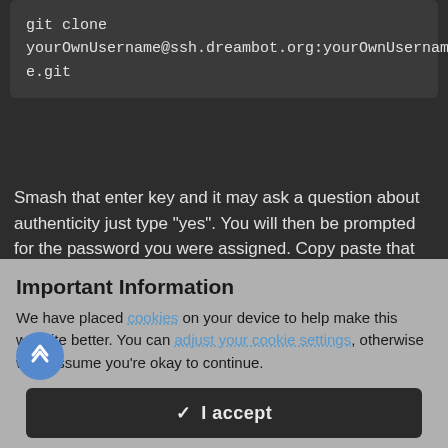git clone yourOwnUsername@ssh.dreambot.org:yourOwnUsername.git
Smash that enter key and it may ask a question about authenticity just type "yes".  You will then be prompted for the password you were assigned.  Copy paste that into the password field.
*Side note - lif you don't have a ton of linux experience password fields in linux will not show an * or dot while filling them out.  It will be invisible.  Just hit enter after you type/copy it.*
Important Information
We have placed cookies on your device to help make this website better. You can adjust your cookie settings, otherwise we'll assume you're okay to continue.
I accept